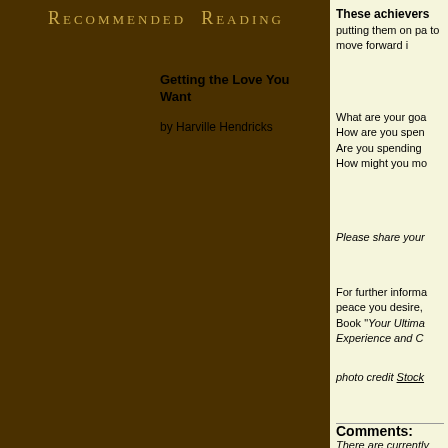Recommended Reading
Getting the Love You Want
by Harville Hendricks
These achievers putting them on pa to move forward i
What are your goa How are you spen Are you spending How might you mo
Please share your
For further informa peace you desire, Book "Your Ultima Experience and C
photo credit Stock
Comments:
There are currently no